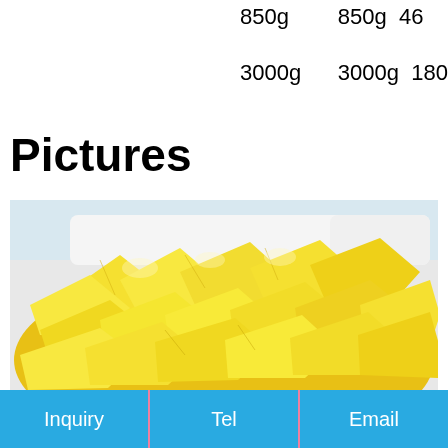850g        850g 46
3000g        3000g 180
Pictures
[Figure (photo): Photo of canned pineapple chunks/pieces displayed on a white surface, showing yellow pineapple pieces piled together]
Inquiry   Tel   Email